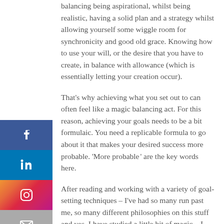balancing being aspirational, whilst being realistic, having a solid plan and a strategy whilst allowing yourself some wiggle room for synchronicity and good old grace. Knowing how to use your will, or the desire that you have to create, in balance with allowance (which is essentially letting your creation occur).
That's why achieving what you set out to can often feel like a magic balancing act. For this reason, achieving your goals needs to be a bit formulaic. You need a replicable formula to go about it that makes your desired success more probable. 'More probable' are the key words here.
[Figure (infographic): Social media share buttons: Facebook (blue), LinkedIn (blue), Instagram (gradient), Email (grey)]
After reading and working with a variety of goal-setting techniques – I've had so many run past me, so many different philosophies on this stuff and yes, I have studied a little bit of magic – I think I can condense it into just a few words for you.